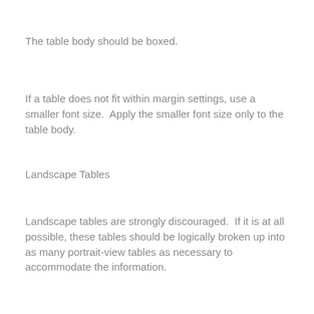The table body should be boxed.
If a table does not fit within margin settings, use a smaller font size.  Apply the smaller font size only to the table body.
Landscape Tables
Landscape tables are strongly discouraged.  If it is at all possible, these tables should be logically broken up into as many portrait-view tables as necessary to accommodate the information.